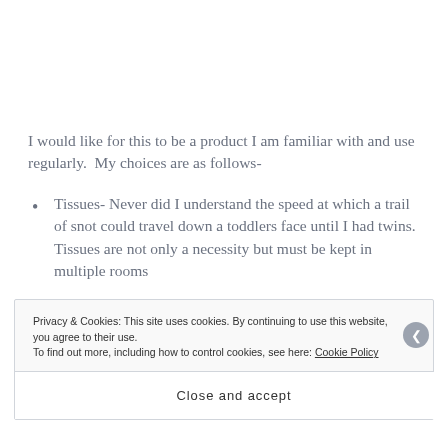I would like for this to be a product I am familiar with and use regularly.  My choices are as follows-
Tissues- Never did I understand the speed at which a trail of snot could travel down a toddlers face until I had twins.  Tissues are not only a necessity but must be kept in multiple rooms
Privacy & Cookies: This site uses cookies. By continuing to use this website, you agree to their use.
To find out more, including how to control cookies, see here: Cookie Policy
Close and accept